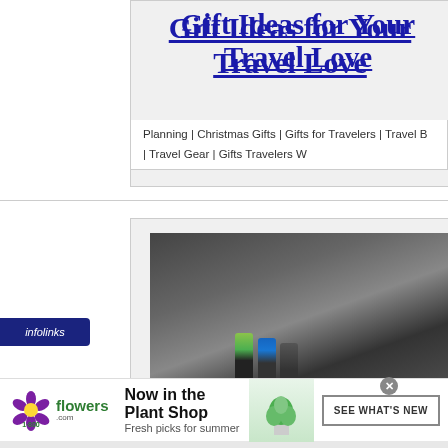Gift Ideas for Your Travel Lover
Planning | Christmas Gifts | Gifts for Travelers | Travel B | Travel Gear | Gifts Travelers W
[Figure (photo): Photo of spray paint cans on a dark concrete surface with a person partially visible on the right side]
infolinks
[Figure (advertisement): 1-800-Flowers.com advertisement: Now in the Plant Shop - Fresh picks for summer, with a photo of a green plant and a SEE WHAT'S NEW button]